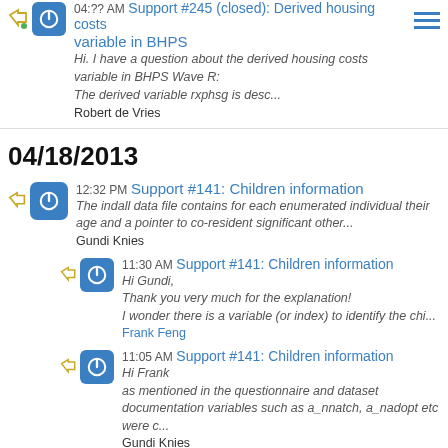04:?? AM Support #245 (closed): Derived housing costs variable in BHPS
Hi. I have a question about the derived housing costs variable in BHPS Wave R:
The derived variable rxphsg is desc...
Robert de Vries
04/18/2013
12:32 PM Support #141: Children information
The indall data file contains for each enumerated individual their age and a pointer to co-resident significant other...
Gundi Knies
11:30 AM Support #141: Children information
Hi Gundi,
Thank you very much for the explanation!
I wonder there is a variable (or index) to identify the chi...
Frank Feng
11:05 AM Support #141: Children information
Hi Frank
as mentioned in the questionnaire and dataset documentation variables such as a_nnatch, a_nadopt etc were c...
Gundi Knies
10:42 AM Support #141: Children information
Hi Jakob,
Thank you for the information!
I want to clarify one thing. I find that some of the